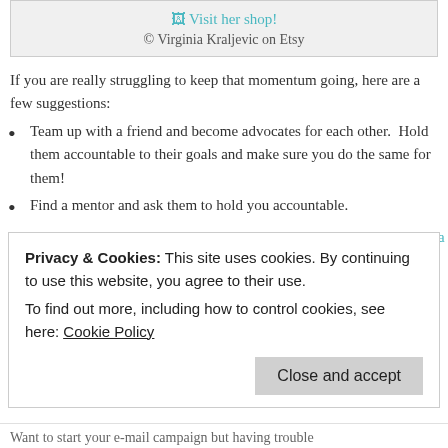[Figure (illustration): Broken image placeholder with link 'Visit her shop!' and credit '© Virginia Kraljevic on Etsy']
If you are really struggling to keep that momentum going, here are a few suggestions:
Team up with a friend and become advocates for each other. Hold them accountable to their goals and make sure you do the same for them!
Find a mentor and ask them to hold you accountable.
Hire a business coach like Jonathan Fields, Tara Gentile, Tara Sophia Mohr, April Bowles.
Get in on some classes. I know when I have trouble
Privacy & Cookies: This site uses cookies. By continuing to use this website, you agree to their use. To find out more, including how to control cookies, see here: Cookie Policy
Want to start your e-mail campaign but having trouble